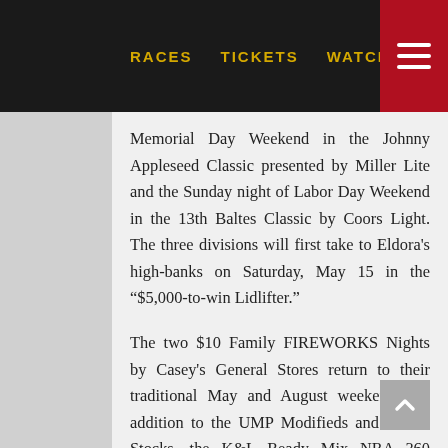RACES   TICKETS   WATCH
Memorial Day Weekend in the Johnny Appleseed Classic presented by Miller Lite and the Sunday night of Labor Day Weekend in the 13th Baltes Classic by Coors Light. The three divisions will first take to Eldora’s high-banks on Saturday, May 15 in the “$5,000-to-win Lidlifter.”
The two $10 Family FIREWORKS Nights by Casey’s General Stores return to their traditional May and August weekends. In addition to the UMP Modifieds and Eldora Stocks, the K&L Ready Mix NRA 360 Sprints will join the card on Saturday, May 22. A new special national